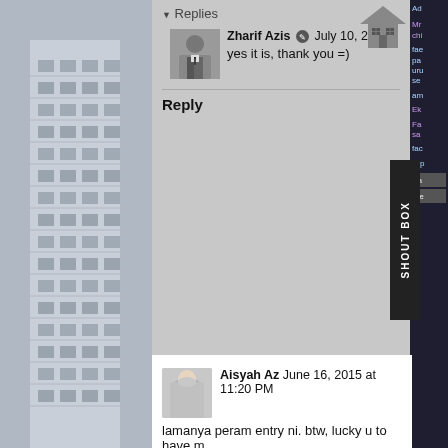[Figure (photo): Left sidebar with building/architectural photo in grey tones]
▼ Replies
[Figure (photo): Avatar photo of Zharif Azis - man in suit]
Zharif Azis ✏ July 10, 2015 at 4:49 AM
yes it is, thank you =)
Reply
[Figure (photo): Avatar photo of Aisyah Az - woman in hijab]
Aisyah Az June 16, 2015 at 11:20 PM
lamanya peram entry ni. btw, lucky u to have m
p/s: robert tu ensemm. haha and BK too
Reply
▼ Replies
[Figure (photo): Avatar photo of Zharif Azis - man in suit]
Zharif Azis ✏ July 10, 2015 at 4:50 A
sangat lama. Lama sebab takut nak pu
yupp, robert memang handsome. dah b
BK biasa-biasa je . hihi
[Figure (screenshot): Right sidebar shoutbox with blue/purple text links and SHOUT BOX tab label]